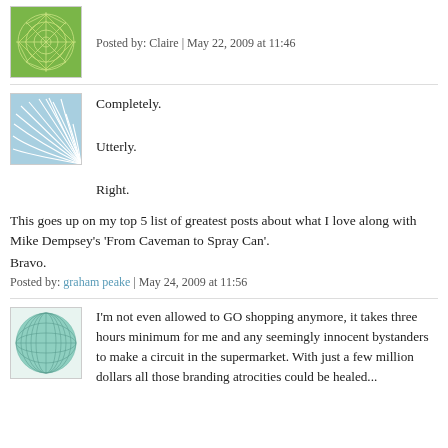[Figure (illustration): Green geometric star/snowflake pattern avatar for Claire]
Posted by: Claire | May 22, 2009 at 11:46
[Figure (illustration): Blue fan/shell wave pattern avatar for graham peake comment]
Completely.

Utterly.

Right.
This goes up on my top 5 list of greatest posts about what I love along with Mike Dempsey's 'From Caveman to Spray Can'.
Bravo.
Posted by: graham peake | May 24, 2009 at 11:56
[Figure (illustration): Teal/green grid sphere pattern avatar]
I'm not even allowed to GO shopping anymore, it takes three hours minimum for me and any seemingly innocent bystanders to make a circuit in the supermarket. With just a few million dollars all those branding atrocities could be healed...